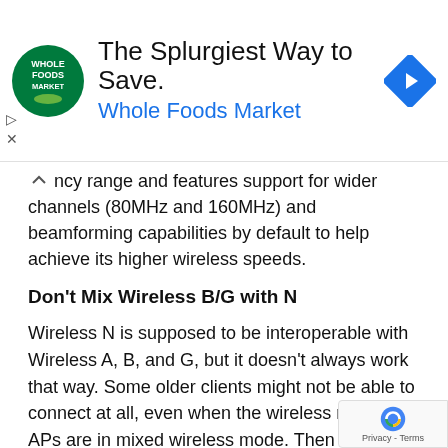[Figure (advertisement): Whole Foods Market advertisement banner with logo, text 'The Splurgiest Way to Save.' and 'Whole Foods Market', and a blue navigation arrow icon]
ncy range and features support for wider channels (80MHz and 160MHz) and beamforming capabilities by default to help achieve its higher wireless speeds.
Don't Mix Wireless B/G with N
Wireless N is supposed to be interoperable with Wireless A, B, and G, but it doesn't always work that way. Some older clients might not be able to connect at all, even when the wireless router or APs are in mixed wireless mode. Then when the older clients can connect, they'll slow down the network.
Some clients may take a heavy 80 percent cut in their throughput. To prevent this problem, consider forcing APs to use only Wireless N, and keep the old router or around to support the old clients.